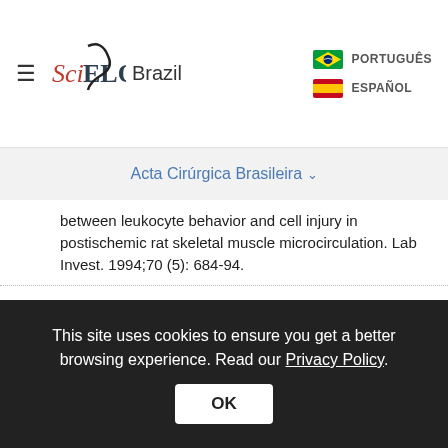SciELO Brazil | PORTUGUÊS | ESPAÑOL
Acta Cirúrgica Brasileira
between leukocyte behavior and cell injury in postischemic rat skeletal muscle microcirculation. Lab Invest. 1994;70 (5): 684-94.
20. Zamboni WA, Stephenson LL, Roth AC, Suchy H and Russel RC. Ischemia-reperfusion injury in skeletal muscle: CD-18 dependent neutrophil-endothelial adhesion and arteriolar vasoconstriction. Plast Reconstr Surg. 1997;99: 2002-7.
21. Broidal AL, Hickey MJ, Stewart AG
This site uses cookies to ensure you get a better browsing experience. Read our Privacy Policy.